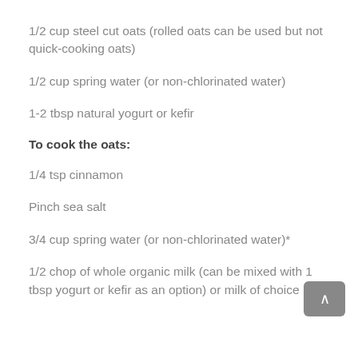1/2 cup steel cut oats (rolled oats can be used but not quick-cooking oats)
1/2 cup spring water (or non-chlorinated water)
1-2 tbsp natural yogurt or kefir
To cook the oats:
1/4 tsp cinnamon
Pinch sea salt
3/4 cup spring water (or non-chlorinated water)*
1/2 chop of whole organic milk (can be mixed with 1 tbsp yogurt or kefir as an option) or milk of choice